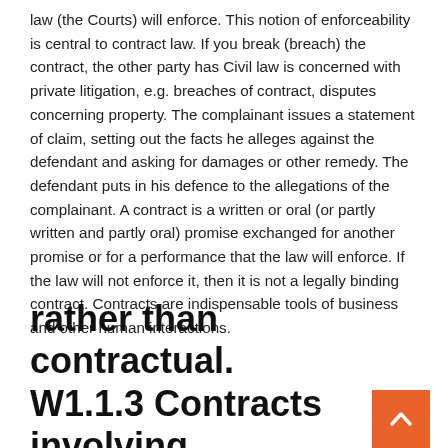law (the Courts) will enforce. This notion of enforceability is central to contract law. If you break (breach) the contract, the other party has Civil law is concerned with private litigation, e.g. breaches of contract, disputes concerning property. The complainant issues a statement of claim, setting out the facts he alleges against the defendant and asking for damages or other remedy. The defendant puts in his defence to the allegations of the complainant. A contract is a written or oral (or partly written and partly oral) promise exchanged for another promise or for a performance that the law will enforce. If the law will not enforce it, then it is not a legally binding contract. Contracts are indispensable tools of business and other human interactions.
rather than contractual. W1.1.3 Contracts involving land, marriage